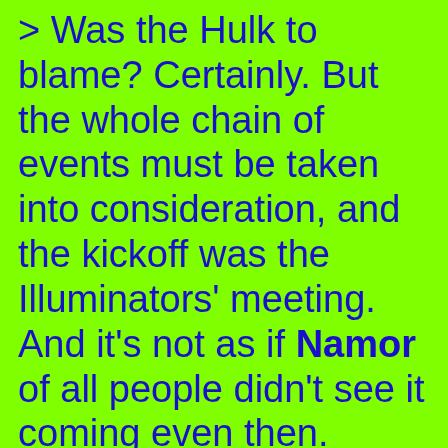> Was the Hulk to blame? Certainly. But the whole chain of events must be taken into consideration, and the kickoff was the Illuminators' meeting. And it's not as if Namor of all people didn't see it coming even then.
Namor was always the dissenting voice of the Illuminati who'd say everything was a bad idea. Consider him just being